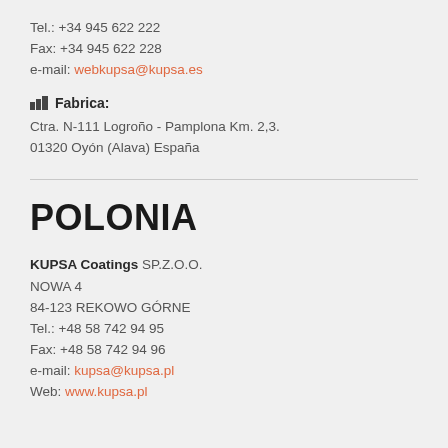Tel.: +34 945 622 222
Fax: +34 945 622 228
e-mail: webkupsa@kupsa.es
Fabrica:
Ctra. N-111 Logroño - Pamplona Km. 2,3.
01320 Oyón (Alava) España
POLONIA
KUPSA Coatings SP.Z.O.O.
NOWA 4
84-123 REKOWO GÓRNE
Tel.: +48 58 742 94 95
Fax: +48 58 742 94 96
e-mail: kupsa@kupsa.pl
Web: www.kupsa.pl